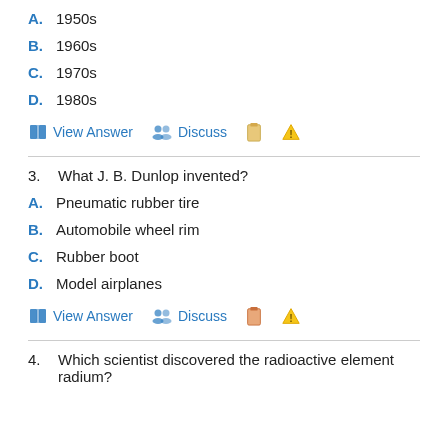A. 1950s
B. 1960s
C. 1970s
D. 1980s
View Answer   Discuss
3. What J. B. Dunlop invented?
A. Pneumatic rubber tire
B. Automobile wheel rim
C. Rubber boot
D. Model airplanes
View Answer   Discuss
4. Which scientist discovered the radioactive element radium?